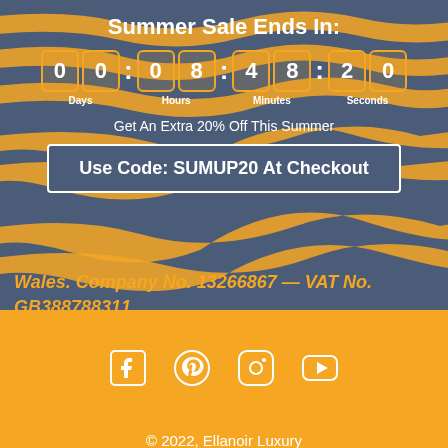Summer Sale Ends In:
00  08 : 48 : 20  Days  Hours  Minutes  Seconds
Get An Extra 20% Off This Summer
Use Code: SUMUP20 At Checkout
Wales. Company No. 13266867 — VAT No. GB388788311
[Figure (illustration): Social media icons: Facebook, Pinterest, Instagram, YouTube]
© 2022, Ellanoir Luxury